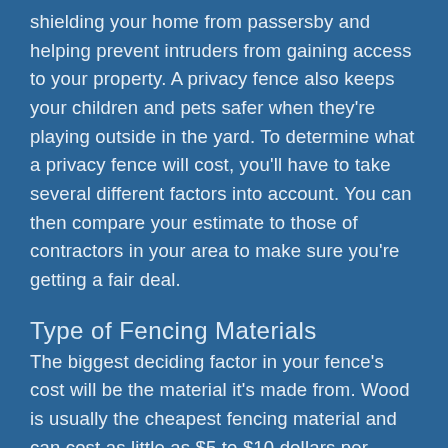shielding your home from passersby and helping prevent intruders from gaining access to your property. A privacy fence also keeps your children and pets safer when they're playing outside in the yard. To determine what a privacy fence will cost, you'll have to take several different factors into account. You can then compare your estimate to those of contractors in your area to make sure you're getting a fair deal.
Type of Fencing Materials
The biggest deciding factor in your fence's cost will be the material it's made from. Wood is usually the cheapest fencing material and can cost as little as $5 to $10 dollars per linear foot. It also requires the most maintenance of any fencing material, however.